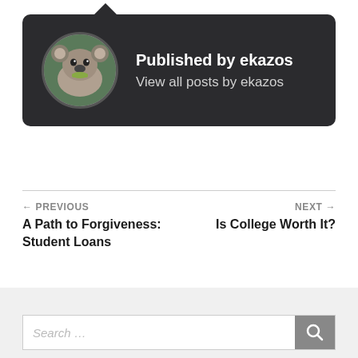[Figure (other): Author card with dark background showing a koala avatar photo, bold text 'Published by ekazos' and subtitle 'View all posts by ekazos']
← PREVIOUS
A Path to Forgiveness: Student Loans
NEXT →
Is College Worth It?
[Figure (other): Search bar at the bottom of the page with a search icon button on the right]